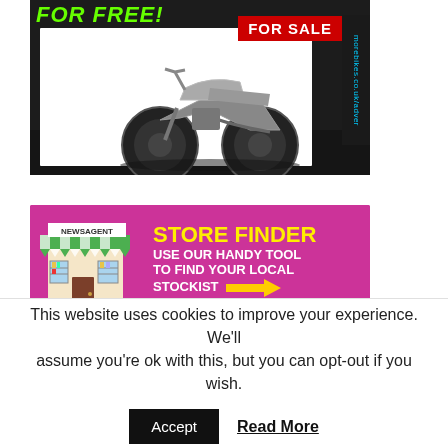[Figure (photo): Advertisement banner for motorcycle classifieds showing a custom scrambler/cafe racer style motorcycle on a dark background. Green text 'FOR FREE!' at top left, red banner 'FOR SALE' at top right, and vertical cyan URL 'morebikes.co.uk/adver' on the right side.]
[Figure (illustration): Store finder advertisement on a pink/magenta background. Left side shows an illustrated newsagent shop front with green awning. Right side has large yellow bold text 'STORE FINDER', white bold text 'USE OUR HANDY TOOL TO FIND YOUR LOCAL STOCKIST' with a yellow arrow pointing right.]
This website uses cookies to improve your experience. We'll assume you're ok with this, but you can opt-out if you wish.
Accept
Read More